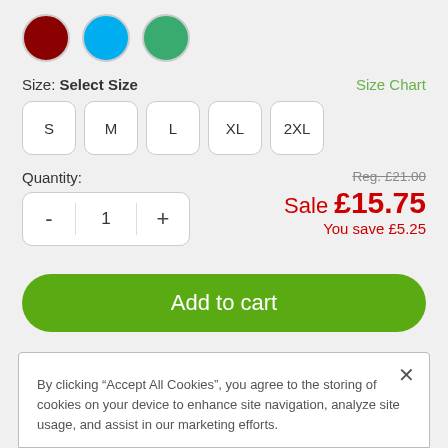[Figure (illustration): Three color swatches: dark red circle, cyan/blue circle, green circle]
Size: Select Size
Size Chart
S
M
L
XL
2XL
Quantity:
Reg. £21.00
Sale £15.75
You save £5.25
Add to cart
By clicking “Accept All Cookies”, you agree to the storing of cookies on your device to enhance site navigation, analyze site usage, and assist in our marketing efforts.